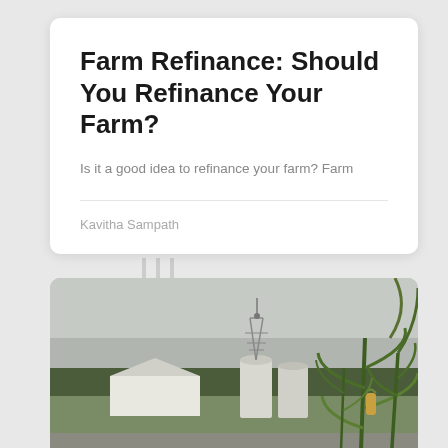Farm Refinance: Should You Refinance Your Farm?
Is it a good idea to refinance your farm? Farm
Kavitha Sampath
[Figure (photo): Farm scene showing grain silos and corn crops in the foreground with overcast sky]